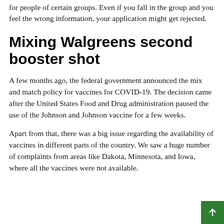for people of certain groups. Even if you fall in the group and you feel the wrong information, your application might get rejected.
Mixing Walgreens second booster shot
A few months ago, the federal government announced the mix and match policy for vaccines for COVID-19. The decision came after the United States Food and Drug administration paused the use of the Johnson and Johnson vaccine for a few weeks.
Apart from that, there was a big issue regarding the availability of vaccines in different parts of the country. We saw a huge number of complaints from areas like Dakota, Minnesota, and Iowa, where all the vaccines were not available.